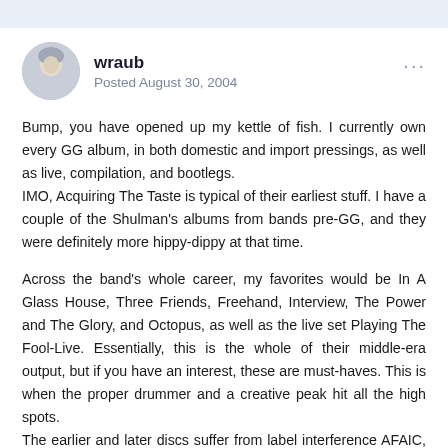wraub
Posted August 30, 2004
Bump, you have opened up my kettle of fish. I currently own every GG album, in both domestic and import pressings, as well as live, compilation, and bootlegs.
IMO, Acquiring The Taste is typical of their earliest stuff. I have a couple of the Shulman's albums from bands pre-GG, and they were definitely more hippy-dippy at that time.
Across the band's whole career, my favorites would be In A Glass House, Three Friends, Freehand, Interview, The Power and The Glory, and Octopus, as well as the live set Playing The Fool-Live. Essentially, this is the whole of their middle-era output, but if you have an interest, these are must-haves. This is when the proper drummer and a creative peak hit all the high spots.
The earlier and later discs suffer from label interference AFAIC, the earlier to be "more out-there, you know, for kids", and the later to be "more radio friendly, you know, for kids".